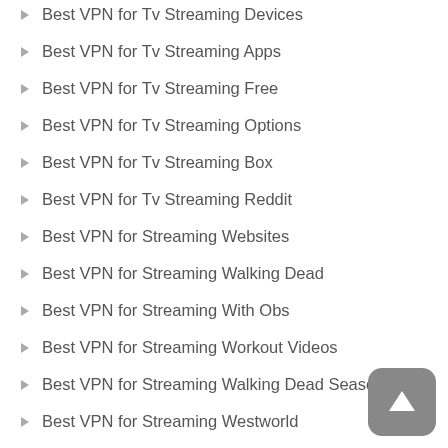Best VPN for Tv Streaming Devices
Best VPN for Tv Streaming Apps
Best VPN for Tv Streaming Free
Best VPN for Tv Streaming Options
Best VPN for Tv Streaming Box
Best VPN for Tv Streaming Reddit
Best VPN for Streaming Websites
Best VPN for Streaming Walking Dead
Best VPN for Streaming With Obs
Best VPN for Streaming Workout Videos
Best VPN for Streaming Walking Dead Season 8
Best VPN for Streaming Westworld
Best VPN for Streaming Weather Channel
Best VPN for Streaming With Dvr
Best VPN for Streaming Websites Like Twitch